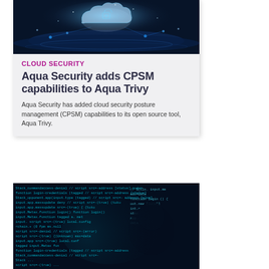[Figure (photo): Dark blue digital cloud security illustration with glowing cloud and network connections]
CLOUD SECURITY
Aqua Security adds CPSM capabilities to Aqua Trivy
Aqua Security has added cloud security posture management (CPSM) capabilities to its open source tool, Aqua Trivy.
[Figure (photo): Dark image of a hacker silhouette against glowing blue code on a screen]